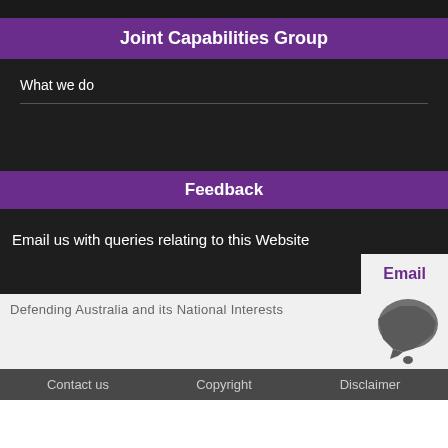Joint Capabilities Group
What we do
Feedback
Email us with queries relating to this Website
Email
Defending Australia and its National Interests
Contact us   Copyright   Disclaimer